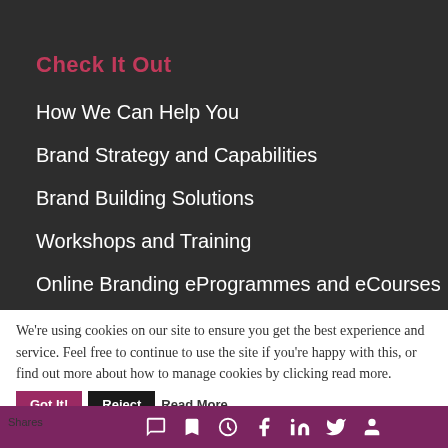Check It Out
How We Can Help You
Brand Strategy and Capabilities
Brand Building Solutions
Workshops and Training
Online Branding eProgrammes and eCourses
Speaking and Keynotes
We're using cookies on our site to ensure you get the best experience and service. Feel free to continue to use the site if you're happy with this, or find out more about how to manage cookies by clicking read more.
Shares